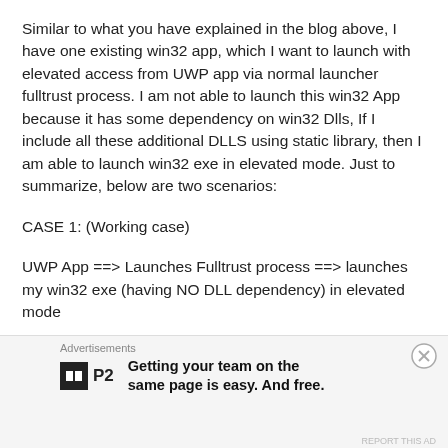Similar to what you have explained in the blog above, I have one existing win32 app, which I want to launch with elevated access from UWP app via normal launcher fulltrust process. I am not able to launch this win32 App because it has some dependency on win32 Dlls, If I include all these additional DLLS using static library, then I am able to launch win32 exe in elevated mode. Just to summarize, below are two scenarios:
CASE 1: (Working case)
UWP App ==> Launches Fulltrust process ==> launches my win32 exe (having NO DLL dependency) in elevated mode
CASE 2: (Failure Case)
Advertisements
[Figure (logo): P2 app advertisement logo with tagline: Getting your team on the same page is easy. And free.]